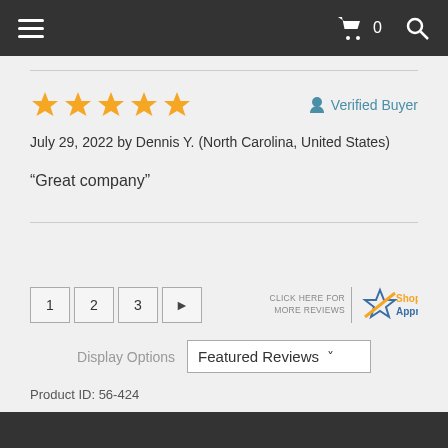Navigation bar with hamburger menu, cart (0), and search
[Figure (other): 5 orange stars rating]
Verified Buyer
July 29, 2022 by Dennis Y. (North Carolina, United States)
“Great company”
1  2  3  ►
[Figure (logo): Shopper Approved logo with CLICK HERE FOR MORE REVIEWS text]
Display Options  Featured Reviews
Product ID: 56-424
Dark bottom navigation bar